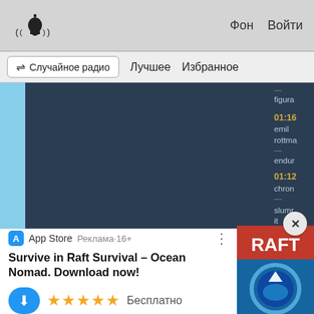((🔔))  Фон  Войти
⇌ Случайное радио   Лучшее   Избранное
[Figure (screenshot): Dark blue/grey music app panel with sidebar showing track times and names: figura, 01:16, emil, rottma, endur, 01:12, chron, slumr, it]
— figura 01:16 emil rottma — endur 01:12 chron — slumr it
[Figure (other): App Store advertisement banner for Raft Survival Ocean Nomad game with RAFT logo image showing shark]
App Store  Реклама·16+
Survive in Raft Survival – Ocean Nomad. Download now!
★★★★★  Бесплатно